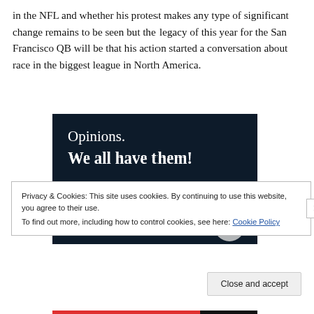in the NFL and whether his protest makes any type of significant change remains to be seen but the legacy of this year for the San Francisco QB will be that his action started a conversation about race in the biggest league in North America.
[Figure (illustration): Advertisement banner with dark navy background showing text 'Opinions. We all have them!' in white serif font, with a pink/magenta button at the bottom left and a circular element at the bottom right.]
Privacy & Cookies: This site uses cookies. By continuing to use this website, you agree to their use.
To find out more, including how to control cookies, see here: Cookie Policy
Close and accept